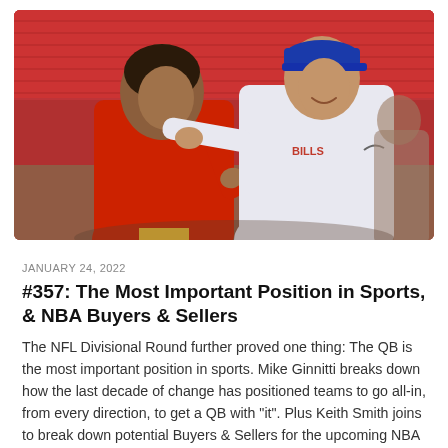[Figure (photo): Two NFL quarterbacks greeting each other on the field before a game. One player is wearing a red Kansas City Chiefs hoodie, the other is wearing a white Buffalo Bills long-sleeve shirt and blue cap. Stadium seats visible in red background.]
JANUARY 24, 2022
#357: The Most Important Position in Sports, & NBA Buyers & Sellers
The NFL Divisional Round further proved one thing: The QB is the most important position in sports. Mike Ginnitti breaks down how the last decade of change has positioned teams to go all-in, from every direction, to get a QB with "it". Plus Keith Smith joins to break down potential Buyers & Sellers for the upcoming NBA Trade Deadline...